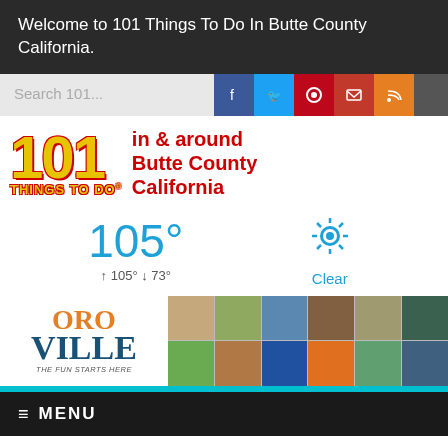Welcome to 101 Things To Do In Butte County California.
[Figure (screenshot): Social media icons: Facebook, Twitter, Pinterest, Email, RSS feed. Search bar with placeholder 'Search 101...']
[Figure (logo): 101 Things To Do logo with yellow/red text and tagline 'in & around Butte County California']
[Figure (infographic): Weather widget showing 105 degrees, high 105 low 73, Clear with sun icon]
[Figure (photo): Oroville 'The Fun Starts Here' banner with collage of outdoor activity photos]
≡ MENU